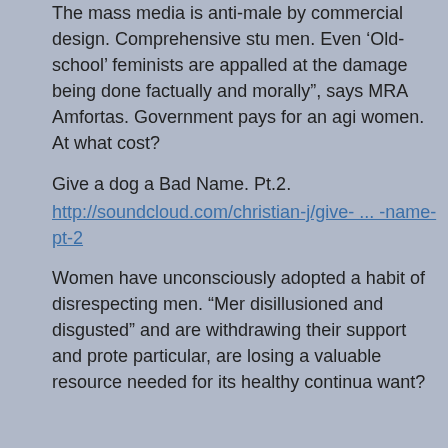The mass media is anti-male by commercial design. Comprehensive stu men. Even 'Old-school' feminists are appalled at the damage being done factually and morally", says MRA Amfortas. Government pays for an agi women. At what cost?
Give a dog a Bad Name. Pt.2.
http://soundcloud.com/christian-j/give- ... -name-pt-2
Women have unconsciously adopted a habit of disrespecting men. “Mer disillusioned and disgusted” and are withdrawing their support and prote particular, are losing a valuable resource needed for its healthy continua want?
Sacred Cows in the China Shop. Pt.1.
http://soundcloud.com/amfortas1/amforta ... p-part-one
A female economist takes on a leading Feminist in a debate. Women's S should be closed. They are academically bogus and “Ideologically biase trusted to seek truth and answers to urgent social questions. Women do
Sacred Cows in the China Shop. Pt.2.